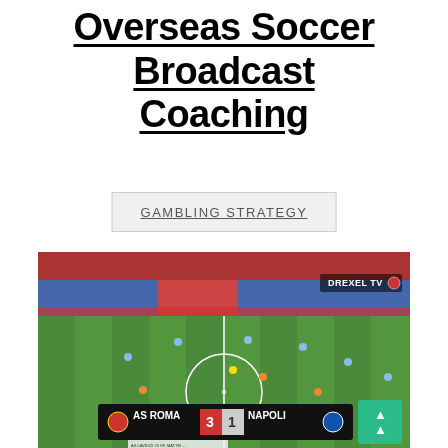Overseas Soccer Broadcast Coaching
GAMBLING STRATEGY
[Figure (photo): Soccer match broadcast screenshot showing AS Roma vs Napoli (score 3-1) with DREXEL TV watermark, aerial view of stadium pitch with players visible]